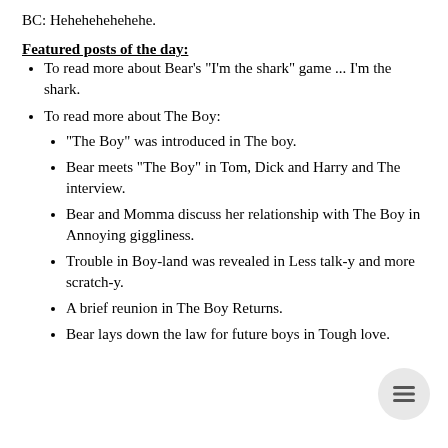BC: Hehehehehehehe.
Featured posts of the day:
To read more about Bear's "I'm the shark" game ... I'm the shark.
To read more about The Boy:
"The Boy" was introduced in The boy.
Bear meets "The Boy" in Tom, Dick and Harry and The interview.
Bear and Momma discuss her relationship with The Boy in Annoying giggliness.
Trouble in Boy-land was revealed in Less talk-y and more scratch-y.
A brief reunion in The Boy Returns.
Bear lays down the law for future boys in Tough love.